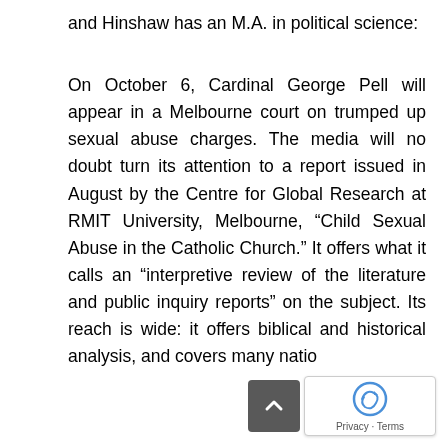and Hinshaw has an M.A. in political science:
On October 6, Cardinal George Pell will appear in a Melbourne court on trumped up sexual abuse charges. The media will no doubt turn its attention to a report issued in August by the Centre for Global Research at RMIT University, Melbourne, “Child Sexual Abuse in the Catholic Church.” It offers what it calls an “interpretive review of the literature and public inquiry reports” on the subject. Its reach is wide: it offers biblical and historical analysis, and covers many natio
D...